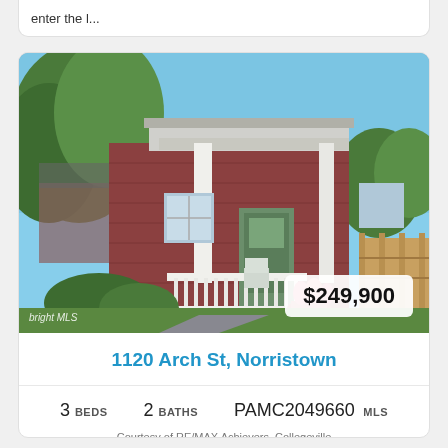enter the l...
[Figure (photo): Exterior photo of a brick row home with white porch columns, white porch railing, potted flowers, and a wooden fence on the right side. Price badge showing $249,900 in the lower right corner.]
1120 Arch St, Norristown
3 BEDS   2 BATHS   PAMC2049660 MLS
Courtesy of RE/MAX Achievers, Collegeville